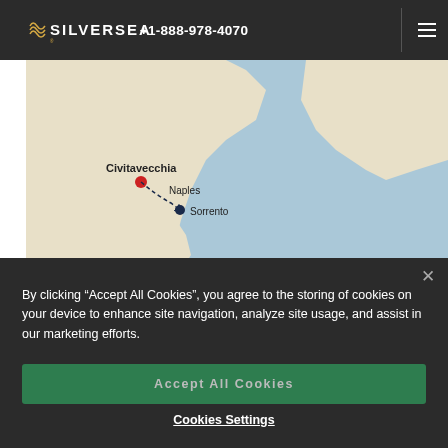Silversea +1-888-978-4070
[Figure (map): Cruise route map showing Italian coastline with marked points at Civitavecchia (red dot), Naples, and Sorrento (dark blue dots) connected by a dashed route line.]
By clicking “Accept All Cookies”, you agree to the storing of cookies on your device to enhance site navigation, analyze site usage, and assist in our marketing efforts.
Accept All Cookies
Cookies Settings